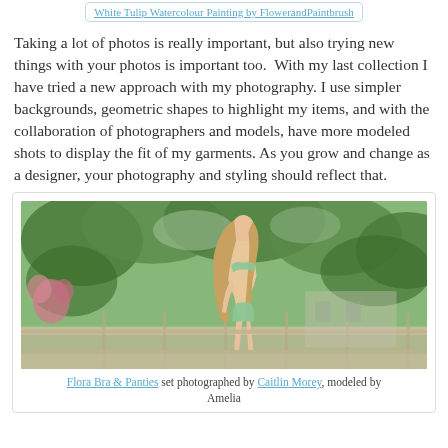White Tulip Watercolour Painting by FlowerandPaintbrush
Taking a lot of photos is really important, but also trying new things with your photos is important too.  With my last collection I have tried a new approach with my photography. I use simpler backgrounds, geometric shapes to highlight my items, and with the collaboration of photographers and models, have more modeled shots to display the fit of my garments. As you grow and change as a designer, your photography and styling should reflect that.
[Figure (photo): A woman with long blonde hair wearing a floral bikini bra and panties set, photographed outdoors on a balcony or deck with trees and flowers in the background, looking upward.]
Flora Bra & Panties set photographed by Caitlin Morey, modeled by Amelia